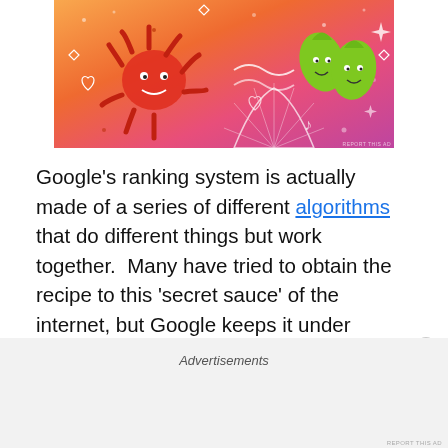[Figure (illustration): Colorful advertisement banner with orange-to-pink gradient background, featuring cartoon doodles including a red sun/octopus, green leaf characters, hearts, diamonds, and decorative swirls.]
Google's ranking system is actually made of a series of different algorithms that do different things but work together.  Many have tried to obtain the recipe to this 'secret sauce' of the internet, but Google keeps it under wraps. Much of the entry-level advice that is given on SEO is about extrapolating how certain actions (e.g., using keywords) affect your website's Google search results, and either promoting or discouraging certain practices.
Advertisements